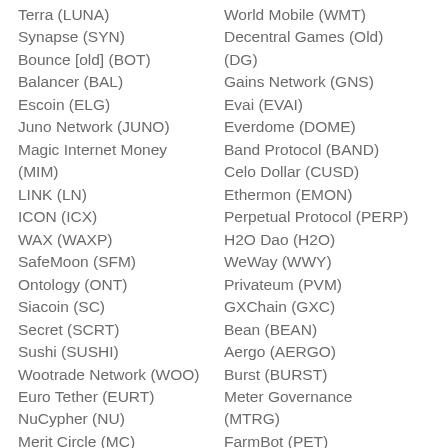Terra (LUNA)
World Mobile (WMT)
Synapse (SYN)
Decentral Games (Old) (DG)
Bounce [old] (BOT)
Gains Network (GNS)
Balancer (BAL)
Evai (EVAI)
Escoin (ELG)
Everdome (DOME)
Juno Network (JUNO)
Band Protocol (BAND)
Magic Internet Money (MIM)
Celo Dollar (CUSD)
LINK (LN)
Ethermon (EMON)
ICON (ICX)
Perpetual Protocol (PERP)
WAX (WAXP)
H2O Dao (H2O)
SafeMoon (SFM)
WeWay (WWY)
Ontology (ONT)
Privateum (PVM)
Siacoin (SC)
GXChain (GXC)
Secret (SCRT)
Bean (BEAN)
Sushi (SUSHI)
Aergo (AERGO)
Wootrade Network (WOO)
Burst (BURST)
Euro Tether (EURT)
Meter Governance (MTRG)
NuCypher (NU)
Merit Circle (MC)
FarmBot (PET)